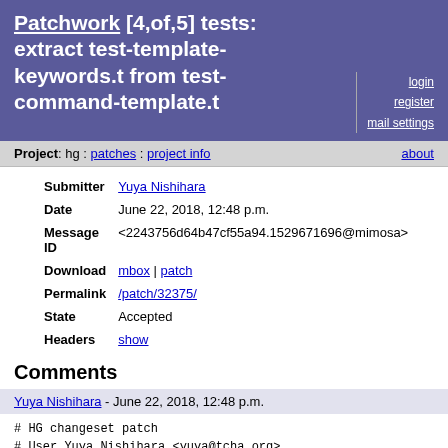Patchwork [4,of,5] tests: extract test-template-keywords.t from test-command-template.t
login
register
mail settings
Project: hg : patches : project info   about
| Field | Value |
| --- | --- |
| Submitter | Yuya Nishihara |
| Date | June 22, 2018, 12:48 p.m. |
| Message ID | <2243756d64b47cf55a94.1529671696@mimosa> |
| Download | mbox | patch |
| Permalink | /patch/32375/ |
| State | Accepted |
| Headers | show |
Comments
Yuya Nishihara - June 22, 2018, 12:48 p.m.
# HG changeset patch
# User Yuya Nishihara <yuya@tcha.org>
# Date 1529126092 -32400